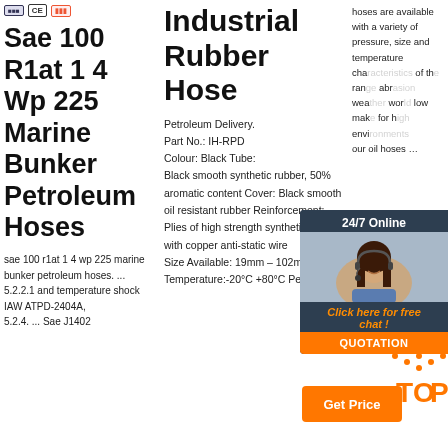[Figure (logo): Three certification logos: a blue square logo, CE mark, and a red rectangle logo]
Sae 100 R1at 1 4 Wp 225 Marine Bunker Petroleum Hoses
sae 100 r1at 1 4 wp 225 marine bunker petroleum hoses. ... 5.2.2.1 and temperature shock IAW ATPD-2404A, 5.2.4. ... Sae J1402
Industrial Rubber Hose
Petroleum Delivery. Part No.: IH-RPD Colour: Black Tube: Black smooth synthetic rubber, 50% aromatic content Cover: Black smooth oil resistant rubber Reinforcement: Plies of high strength synthetic cord with copper anti-static wire Size Available: 19mm – 102mm Temperature:-20°C +80°C Petroleum
hoses are available with a variety of pressure, size and temperature characteristics of the extensive range including abrasion and weather resistant world renowned low our oil hoses …
[Figure (photo): Customer service representative with headset, chat widget overlay showing 24/7 Online, Click here for free chat!, and QUOTATION button]
[Figure (other): Get Price button with TOP badge graphic in orange]
Get Price